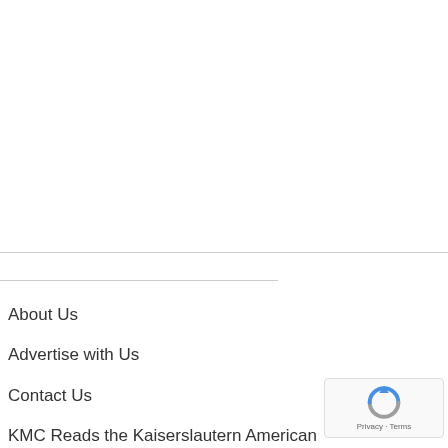About Us
Advertise with Us
Contact Us
KMC Reads the Kaiserslautern American
Archives
Disclaimer
[Figure (logo): reCAPTCHA badge with blue/grey circular arrow icon and 'Privacy - Terms' text]